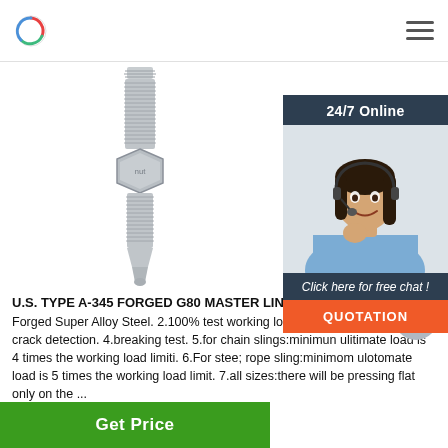Logo and navigation menu
[Figure (photo): A silver/galvanized steel bolt or stud with threaded ends and a hex nut in the middle, photographed on white background]
[Figure (photo): 24/7 Online chat widget showing a female customer service representative wearing a headset, smiling. Dark blue background with '24/7 Online' header, 'Click here for free chat!' text, and an orange QUOTATION button.]
U.S. TYPE A-345 FORGED G80 MASTER LINK ASSEMBLY 1.Material: Forged Super Alloy Steel. 2.100% test working load limit. 3.100% magnaflux crack detection. 4.breaking test. 5.for chain slings:minimun ulitimate load is 4 times the working load limiti. 6.For stee; rope sling:minimom ulotomate load is 5 times the working load limit. 7.all sizes:there will be pressing flat only on the ...
Get Price